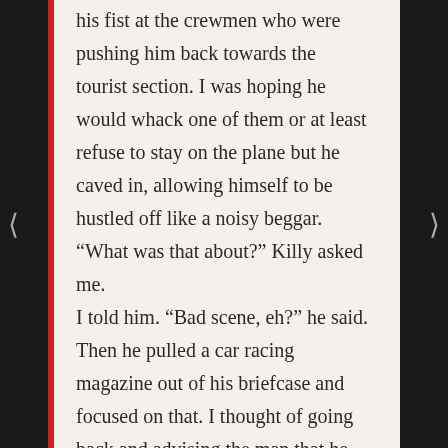his fist at the crewmen who were pushing him back towards the tourist section. I was hoping he would whack one of them or at least refuse to stay on the plane but he caved in, allowing himself to be hustled off like a noisy beggar. "What was that about?" Killy asked me. I told him. "Bad scene, eh?" he said. Then he pulled a car racing magazine out of his briefcase and focused on that. I thought of going back and advising the man that he could get a full refund on his ticket if he kept yelling, but the flight was delayed for at least an hour on the runway and I was afraid to leave my seat for fear it might be grabbed by some late-arriving celebrity. Within moments, a new hassle developed. I asked